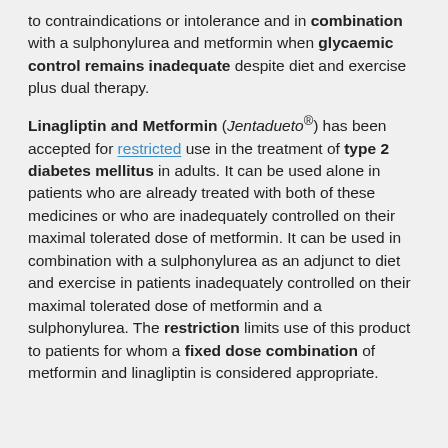to contraindications or intolerance and in combination with a sulphonylurea and metformin when glycaemic control remains inadequate despite diet and exercise plus dual therapy.
Linagliptin and Metformin (Jentadueto®) has been accepted for restricted use in the treatment of type 2 diabetes mellitus in adults. It can be used alone in patients who are already treated with both of these medicines or who are inadequately controlled on their maximal tolerated dose of metformin. It can be used in combination with a sulphonylurea as an adjunct to diet and exercise in patients inadequately controlled on their maximal tolerated dose of metformin and a sulphonylurea. The restriction limits use of this product to patients for whom a fixed dose combination of metformin and linagliptin is considered appropriate.